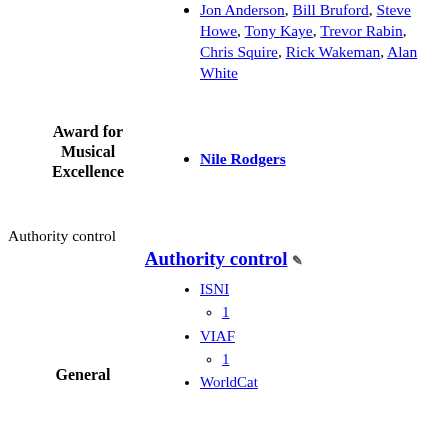Jon Anderson, Bill Bruford, Steve Howe, Tony Kaye, Trevor Rabin, Chris Squire, Rick Wakeman, Alan White
Award for Musical Excellence
Nile Rodgers
Authority control
Authority control
General
ISNI
1
VIAF
1
WorldCat
National libraries
Norway
Spain
France (data)
Germany
Israel
United States
Latvia
Czech Republic
Netherlands
Poland